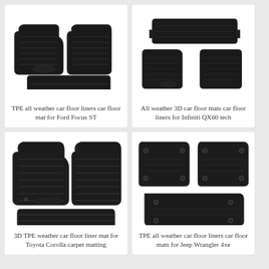[Figure (photo): Black TPE rubber car floor mats/liners set for Ford Focus ST, shown as a set of front and rear mats with raised ridges]
TPE all weather car floor liners car floor mat for Ford Focus ST
[Figure (photo): Black 3D rubber car floor mats for Infiniti QX60 tech, shown as full set including cargo liner]
All weather 3D car floor mats car floor liners for Infiniti QX60 tech
[Figure (photo): Black 3D TPE rubber car floor liner mats for Toyota Corolla, showing front and rear mats with ribbed texture]
3D TPE weather car floor liner mat for Toyota Corolla carpet matting
[Figure (photo): Black TPE all weather car floor liners for Jeep Wrangler 4xe, showing front pair and rear mat set]
TPE all weather car floor liners car floor mats for Jeep Wrangler 4xe